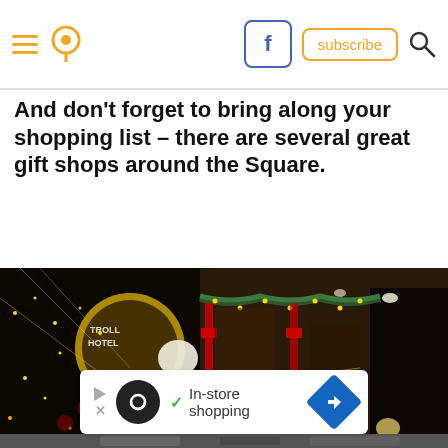Navigation header with menu, location pin, Facebook button, subscribe button, and search icon
And don't forget to bring along your shopping list – there are several great gift shops around the Square.
[Figure (photo): Nighttime street scene of a square decorated with Christmas lights, garlands, red ribbons, and holiday decorations on storefronts including what appears to be Troll Hotel]
[Figure (screenshot): Advertisement banner: In-store shopping with a circular logo, play/close controls, checkmark, and blue diamond navigation icon]